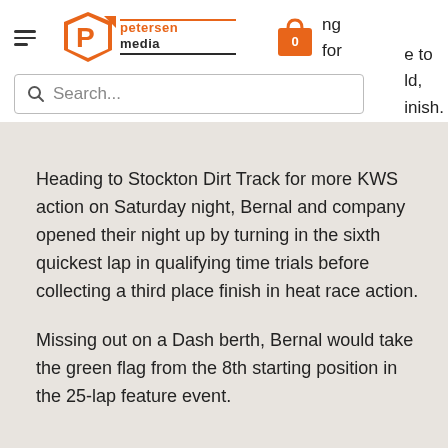[Figure (logo): Petersen Media logo with stylized P icon and orange/dark text]
Search...
Heading to Stockton Dirt Track for more KWS action on Saturday night, Bernal and company opened their night up by turning in the sixth quickest lap in qualifying time trials before collecting a third place finish in heat race action.
Missing out on a Dash berth, Bernal would take the green flag from the 8th starting position in the 25-lap feature event.